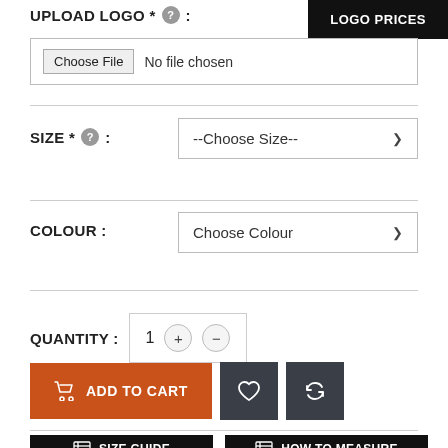UPLOAD LOGO * :
LOGO PRICES
Choose File  No file chosen
SIZE * :
--Choose Size--
COLOUR :
Choose Colour
QUANTITY :
1
ADD TO CART
SIZE GUIDE
HOW TO MEASURE